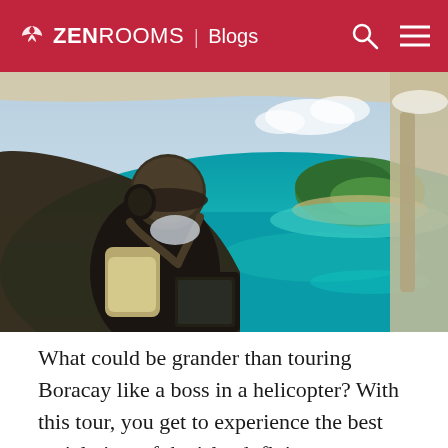ZEN ROOMS | Blogs
[Figure (photo): View from inside a helicopter cockpit showing a pilot wearing a helmet and headset, looking out at a tropical island surrounded by turquoise ocean waters, with the helicopter instrument panel and window frame visible in the foreground.]
What could be grander than touring Boracay like a boss in a helicopter? With this tour, you get to experience the best aerial view of the island, flying